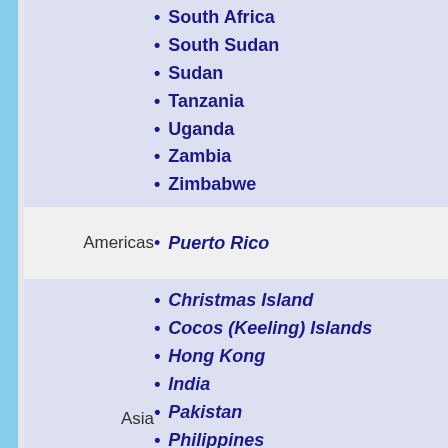South Africa
South Sudan
Sudan
Tanzania
Uganda
Zambia
Zimbabwe
Puerto Rico
Christmas Island
Cocos (Keeling) Islands
Hong Kong
India
Pakistan
Philippines
Singapore